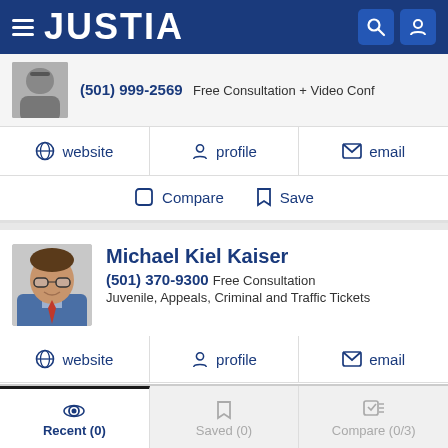JUSTIA
(501) 999-2569 Free Consultation + Video Conf
website | profile | email
Compare | Save
Michael Kiel Kaiser
(501) 370-9300 Free Consultation
Juvenile, Appeals, Criminal and Traffic Tickets
website | profile | email
Compare | Save
Recent (0) | Saved (0) | Compare (0/3)